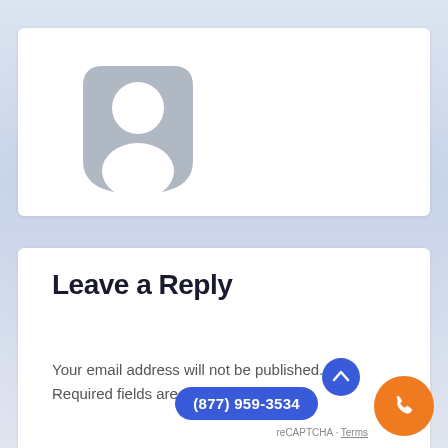[Figure (illustration): Default user avatar placeholder icon — a rounded square shape in grey with a white silhouette of a person (head circle and shoulders) inside]
Leave a Reply
Your email address will not be published. Required fields are marked
[Figure (infographic): Orange circular phone call button overlay and dark blue pill-shaped button showing phone number (877) 959-3534, with a blue scroll-to-top arrow button and reCAPTCHA terms label]